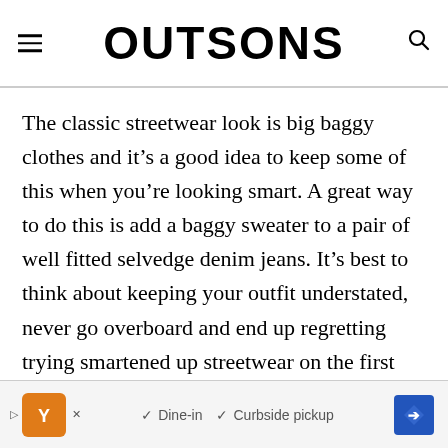OUTSONS
The classic streetwear look is big baggy clothes and it’s a good idea to keep some of this when you’re looking smart. A great way to do this is add a baggy sweater to a pair of well fitted selvedge denim jeans. It’s best to think about keeping your outfit understated, never go overboard and end up regretting trying smartened up streetwear on the first hurdle.
[Figure (other): Advertisement banner with restaurant icon, checkmarks for Dine-in and Curbside pickup, and a blue diamond navigation icon]